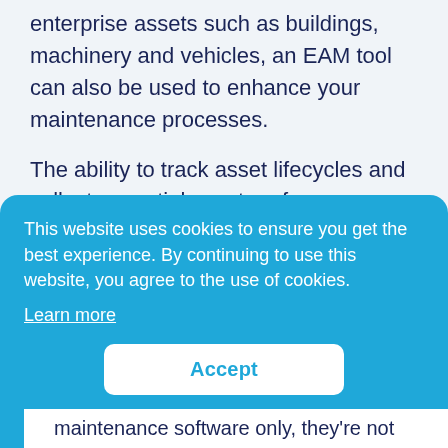enterprise assets such as buildings, machinery and vehicles, an EAM tool can also be used to enhance your maintenance processes.

The ability to track asset lifecycles and collect essential asset performance data allows you to produce proactive and preventive maintenance programs.
This website uses cookies to ensure you get the best experience. By continuing to use this website, you agree to the use of cookies. Learn more
maintenance software only, they're not